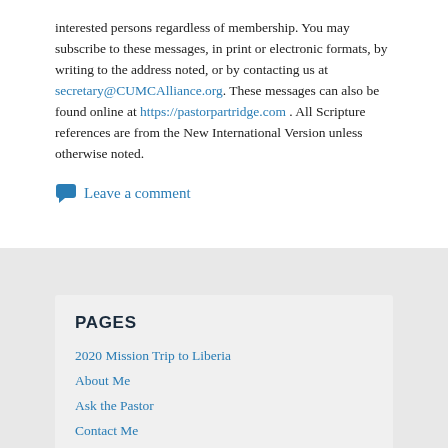interested persons regardless of membership. You may subscribe to these messages, in print or electronic formats, by writing to the address noted, or by contacting us at secretary@CUMCAlliance.org. These messages can also be found online at https://pastorpartridge.com . All Scripture references are from the New International Version unless otherwise noted.
Leave a comment
PAGES
2020 Mission Trip to Liberia
About Me
Ask the Pastor
Contact Me
Early Response Team Training